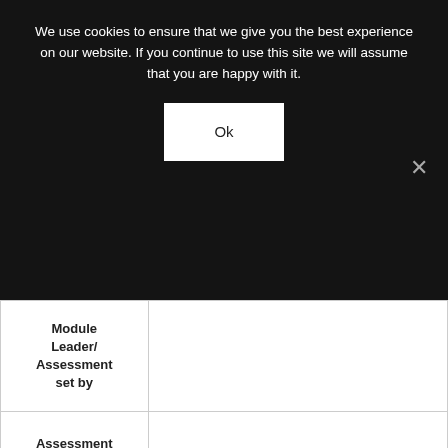We use cookies to ensure that we give you the best experience on our website. If you continue to use this site we will assume that you are happy with it.
Ok
|  |  |
| --- | --- |
| Module Leader/ Assessment set by |  |
| Assessment title | Information Management Report |
| Submission deadline/ Assessment date and time | Upload your report by the end of Unit 6 – midnight July 4th |
|  | Submissions should be machine readable and uploaded to UNIVERSITY in MS-Word format |